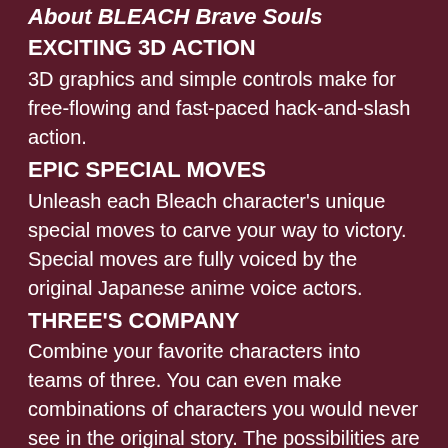About BLEACH Brave Souls
EXCITING 3D ACTION
3D graphics and simple controls make for free-flowing and fast-paced hack-and-slash action.
EPIC SPECIAL MOVES
Unleash each Bleach character's unique special moves to carve your way to victory. Special moves are fully voiced by the original Japanese anime voice actors.
THREE'S COMPANY
Combine your favorite characters into teams of three. You can even make combinations of characters you would never see in the original story. The possibilities are almost limitless!